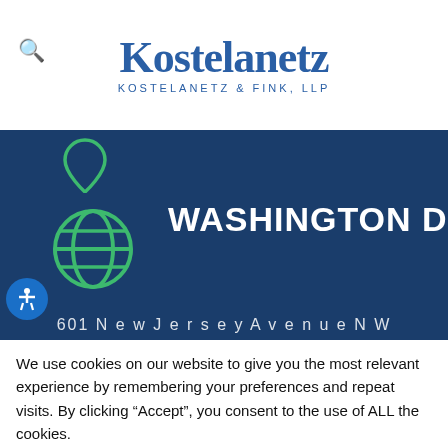[Figure (logo): Kostelanetz & Fink, LLP law firm logo with search icon]
[Figure (infographic): Dark blue banner with globe icon and text WASHINGTON DC OFFICE, partial address visible at bottom, accessibility icon]
We use cookies on our website to give you the most relevant experience by remembering your preferences and repeat visits. By clicking “Accept”, you consent to the use of ALL the cookies.
Do not sell my personal information.
Cookie settings   ACCEPT